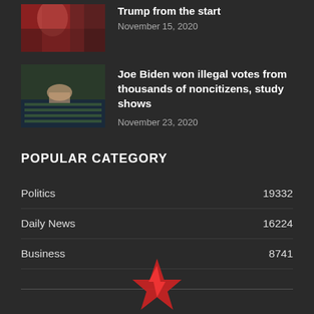[Figure (photo): Partial thumbnail of a man speaking, partially cropped at top]
Trump from the start
November 15, 2020
[Figure (photo): Thumbnail showing hands over voting/ballots at a table]
Joe Biden won illegal votes from thousands of noncitizens, study shows
November 23, 2020
POPULAR CATEGORY
Politics 19332
Daily News 16224
Business 8741
[Figure (logo): Red star/lightning bolt logo at bottom center]